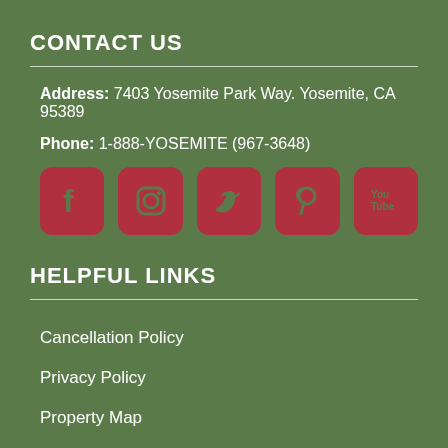CONTACT US
Address: 7403 Yosemite Park Way. Yosemite, CA 95389
Phone: 1-888-YOSEMITE (967-3648)
[Figure (infographic): Social media icons: Facebook, Instagram, Twitter, Pinterest, YouTube — all in dark red/crimson color on rounded square backgrounds]
HELPFUL LINKS
Cancellation Policy
Privacy Policy
Property Map
Contact Us
Sitemap